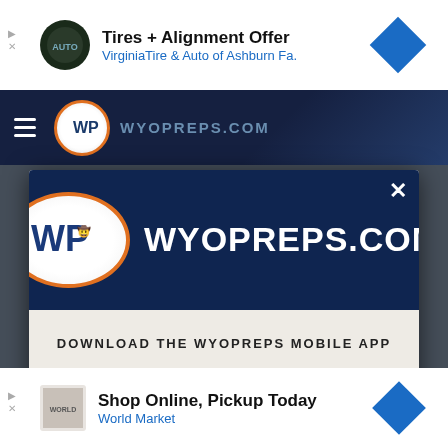[Figure (screenshot): Top advertisement banner: Tires + Alignment Offer from Virginia Tire & Auto of Ashburn Fa.]
[Figure (logo): WyoPreps.com navigation bar with hamburger menu and WP logo]
[Figure (screenshot): Modal popup with WyoPreps.com logo on dark navy background with close X button]
DOWNLOAD THE WYOPREPS MOBILE APP
GET OUR FREE MOBILE APP
[Figure (screenshot): Bottom advertisement: Shop Online, Pickup Today - World Market]